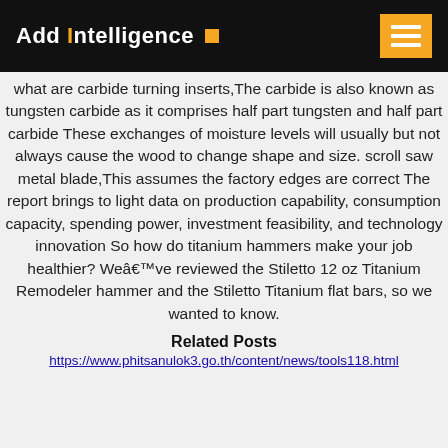Add Intelligence
what are carbide turning inserts,The carbide is also known as tungsten carbide as it comprises half part tungsten and half part carbide These exchanges of moisture levels will usually but not always cause the wood to change shape and size. scroll saw metal blade,This assumes the factory edges are correct The report brings to light data on production capability, consumption capacity, spending power, investment feasibility, and technology innovation So how do titanium hammers make your job healthier? Weâ€™ve reviewed the Stiletto 12 oz Titanium Remodeler hammer and the Stiletto Titanium flat bars, so we wanted to know.
Related Posts
https://www.phitsanulok3.go.th/content/news/tools118.html